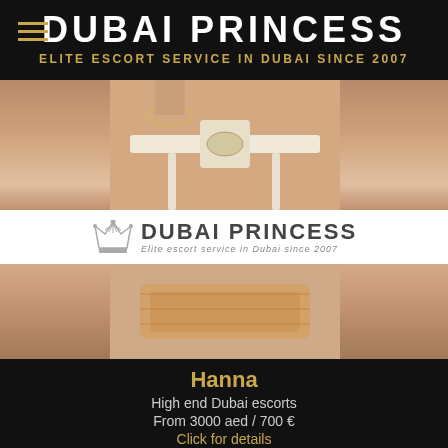DUBAI PRINCESS
ELITE ESCORT SERVICE IN DUBAI SINCE 2007
[Figure (photo): Close-up photo of woman's torso in white lingerie with gold bracelet]
[Figure (logo): Dubai Princess logo: crown icon with text DUBAI PRINCESS and tagline Elite escort service in Dubai since 2007]
[Figure (photo): Close-up photo of woman's lower torso in gold lace lingerie]
Hanna
High end Dubai escorts
From 3000 aed / 700 €
Click for details
[Figure (photo): Close-up photo of blonde woman's face with pouty lips, pearl earring, necklace, green foliage background]